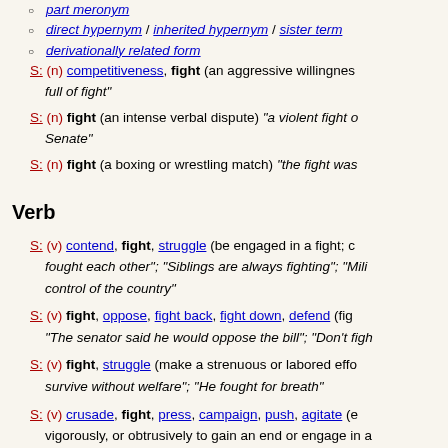part meronym
direct hypernym / inherited hypernym / sister term
derivationally related form
S: (n) competitiveness, fight (an aggressive willingness... full of fight"
S: (n) fight (an intense verbal dispute) "a violent fight... Senate"
S: (n) fight (a boxing or wrestling match) "the fight was...
Verb
S: (v) contend, fight, struggle (be engaged in a fight; c... fought each other"; "Siblings are always fighting"; "Mili... control of the country"
S: (v) fight, oppose, fight back, fight down, defend (fig... "The senator said he would oppose the bill"; "Don't figh...
S: (v) fight, struggle (make a strenuous or labored effo... survive without welfare"; "He fought for breath"
S: (v) crusade, fight, press, campaign, push, agitate (e... vigorously, or obtrusively to gain an end or engage in a... or person; be an advocate for) "The liberal party pushe... crusading for women's rights"; "The Dean is pushing fo...